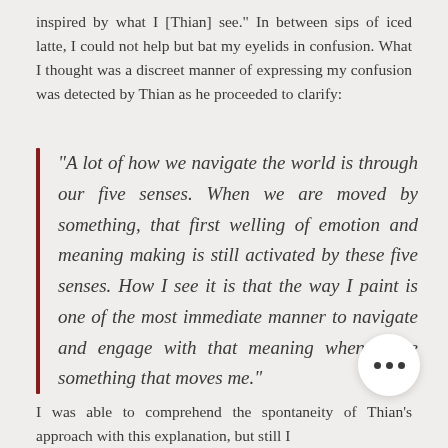inspired by what I [Thian] see." In between sips of iced latte, I could not help but bat my eyelids in confusion. What I thought was a discreet manner of expressing my confusion was detected by Thian as he proceeded to clarify:
"A lot of how we navigate the world is through our five senses. When we are moved by something, that first welling of emotion and meaning making is still activated by these five senses. How I see it is that the way I paint is one of the most immediate manner to navigate and engage with that meaning when I see something that moves me."
I was able to comprehend the spontaneity of Thian's approach with this explanation, but still I